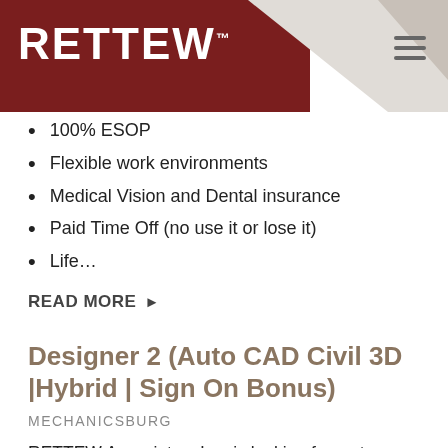[Figure (logo): RETTEW logo in white text on dark red background with geometric gray shapes on right side and hamburger menu icon]
100% ESOP
Flexible work environments
Medical Vision and Dental insurance
Paid Time Off (no use it or lose it)
Life…
READ MORE ▶
Designer 2 (Auto CAD Civil 3D |Hybrid | Sign On Bonus)
MECHANICSBURG
RETTEW Associates, Inc. is looking for a strong candidate to fill a CAD Designer position to support our Land Development Team. As a CAD Designer, you will work as part of the RETTEW Team. This position will be responsible for performing drafting operations and